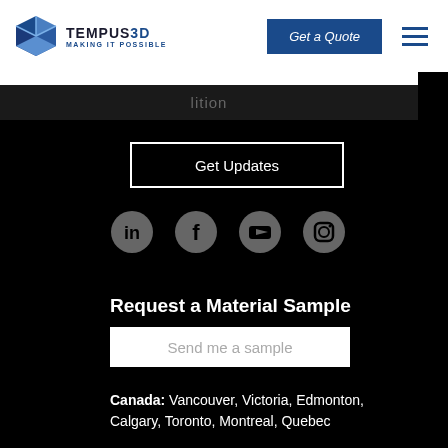[Figure (logo): Tempus3D logo with cube icon and tagline MAKING IT POSSIBLE]
Get a Quote
lition
Get Updates
[Figure (other): Social media icons row: LinkedIn, Facebook, YouTube, Instagram]
Request a Material Sample
Send me a sample
Canada: Vancouver, Victoria, Edmonton, Calgary, Toronto, Montreal, Quebec